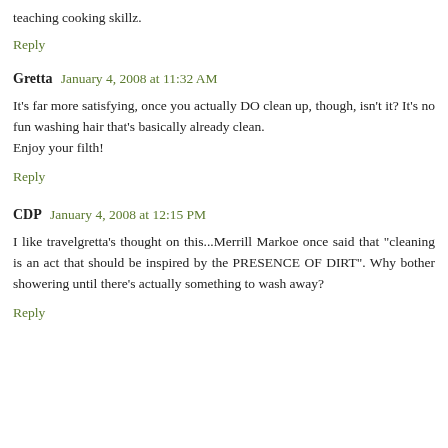teaching cooking skillz.
Reply
Gretta January 4, 2008 at 11:32 AM
It's far more satisfying, once you actually DO clean up, though, isn't it? It's no fun washing hair that's basically already clean.
Enjoy your filth!
Reply
CDP January 4, 2008 at 12:15 PM
I like travelgretta's thought on this...Merrill Markoe once said that "cleaning is an act that should be inspired by the PRESENCE OF DIRT". Why bother showering until there's actually something to wash away?
Reply